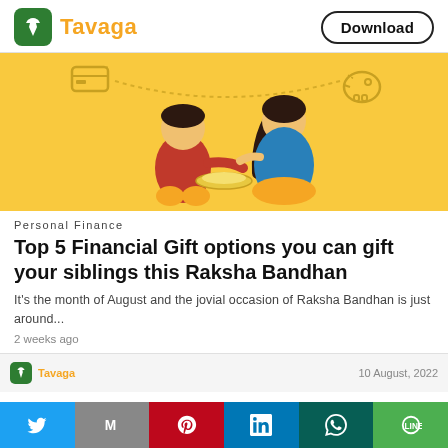Tavaga | Download
[Figure (illustration): Yellow background illustration showing a boy and girl performing Raksha Bandhan ritual, with icons of a credit card and piggy bank floating above them]
Personal Finance
Top 5 Financial Gift options you can gift your siblings this Raksha Bandhan
It's the month of August and the jovial occasion of Raksha Bandhan is just around...
2 weeks ago
[Figure (screenshot): Partial next article strip showing Tavaga logo and date 10 August, 2022]
Twitter | M (Gmail) | Pinterest | LinkedIn | WhatsApp | Line — share buttons